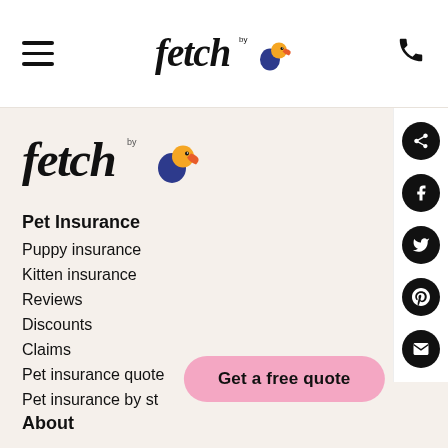fetch by (logo) navigation bar with hamburger menu and phone icon
[Figure (logo): Fetch by logo with toucan bird mascot, large version in beige content area]
Pet Insurance
Puppy insurance
Kitten insurance
Reviews
Discounts
Claims
Pet insurance quote
Pet insurance by state
[Figure (other): Pink rounded CTA button overlay: Get a free quote]
About